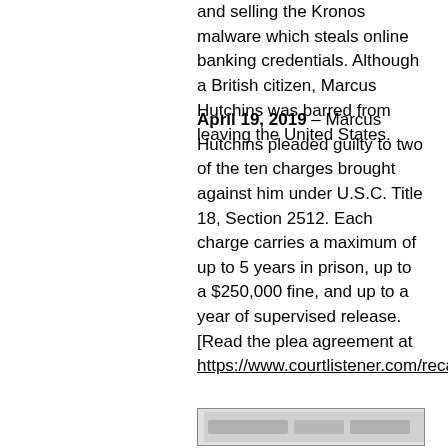and selling the Kronos malware which steals online banking credentials. Although a British citizen, Marcus Hutchins was barred from leaving the United States.
April 19, 2019 – Marcus Hutchins pleaded guilty to two of the ten charges brought against him under U.S.C. Title 18, Section 2512. Each charge carries a maximum of up to 5 years in prison, up to a $250,000 fine, and up to a year of supervised release. [Read the plea agreement at https://www.courtlistener.com/recap/gov.uscourts.wied.77855/gov.uscourts.wied.77855.124.0.pdf.]
[Figure (screenshot): Partial screenshot of a webpage, clipped at bottom of page]